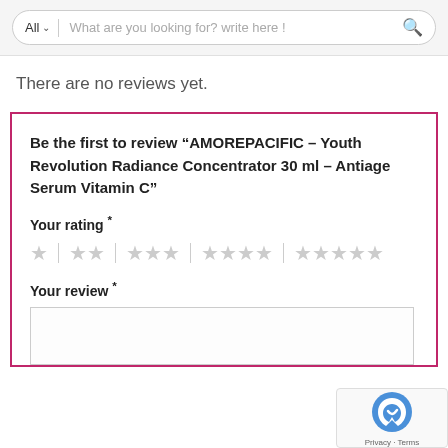All  What are you looking for? write here !
There are no reviews yet.
Be the first to review “AMOREPACIFIC – Youth Revolution Radiance Concentrator 30 ml – Antiage Serum Vitamin C”
Your rating *
Your review *